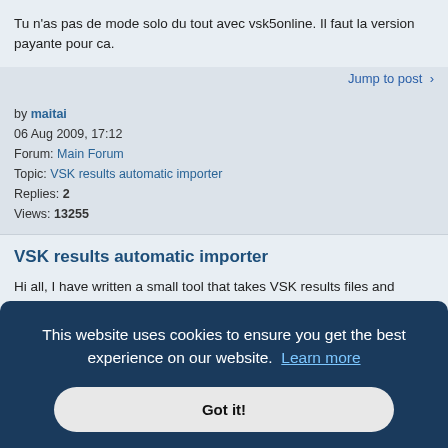Tu n'as pas de mode solo du tout avec vsk5online. Il faut la version payante pour ca.
Jump to post >
by maitai
06 Aug 2009, 17:12
Forum: Main Forum
Topic: VSK results automatic importer
Replies: 2
Views: 13255
VSK results automatic importer
Hi all, I have written a small tool that takes VSK results files and consolidate them together to produce event results automatically. Excel 2003 or more needed, this is unfortunately not compatible with OpenOffice. Many thanks to Camster and Geoff for their help and testing. Feel free to use it. Pl...
Jump to post >
This website uses cookies to ensure you get the best experience on our website. Learn more
Got it!
n record,
I think it's time to release the new MaxiM for VSK5. It's in Virtual-Winds